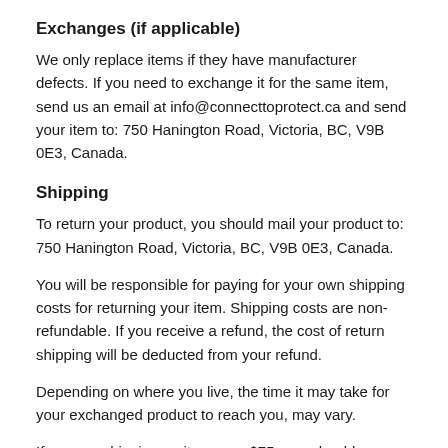Exchanges (if applicable)
We only replace items if they have manufacturer defects. If you need to exchange it for the same item, send us an email at info@connecttoprotect.ca and send your item to: 750 Hanington Road, Victoria, BC, V9B 0E3, Canada.
Shipping
To return your product, you should mail your product to: 750 Hanington Road, Victoria, BC, V9B 0E3, Canada.
You will be responsible for paying for your own shipping costs for returning your item. Shipping costs are non-refundable. If you receive a refund, the cost of return shipping will be deducted from your refund.
Depending on where you live, the time it may take for your exchanged product to reach you, may vary.
If you are shipping an item over $75, you should consider